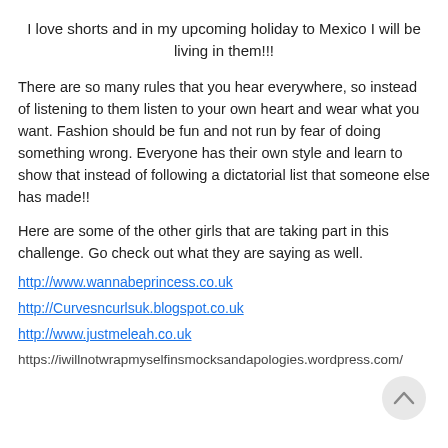I love shorts and in my upcoming holiday to Mexico I will be living in them!!!
There are so many rules that you hear everywhere, so instead of listening to them listen to your own heart and wear what you want. Fashion should be fun and not run by fear of doing something wrong. Everyone has their own style and learn to show that instead of following a dictatorial list that someone else has made!!
Here are some of the other girls that are taking part in this challenge. Go check out what they are saying as well.
http://www.wannabeprincess.co.uk
http://Curvesncurlsuk.blogspot.co.uk
http://www.justmeleah.co.uk
https://iwillnotwrapmyselfinsmocksandapologies.wordpress.com/